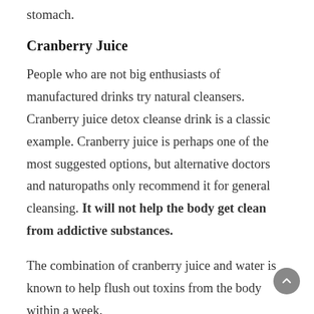stomach.
Cranberry Juice
People who are not big enthusiasts of manufactured drinks try natural cleansers. Cranberry juice detox cleanse drink is a classic example. Cranberry juice is perhaps one of the most suggested options, but alternative doctors and naturopaths only recommend it for general cleansing. It will not help the body get clean from addictive substances.
The combination of cranberry juice and water is known to help flush out toxins from the body within a week.